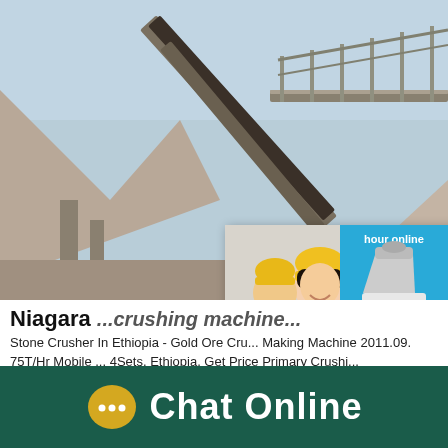[Figure (photo): Industrial conveyor belt on steel structure with aggregate/gravel piles, outdoor mining/quarry site, blue sky background]
[Figure (photo): Live chat popup overlay showing workers in yellow hard hats/helmets with LIVE CHAT text in red, 'Click for a Free Consultation', Chat now and Chat later buttons]
Niagara ... (partially obscured)
Stone Crusher In Ethiopia - Gold Ore Cru... Making Machine 2011.09. 75T/Hr Mobile ... 4Sets. Ethiopia. Get Price Primary Crushi...
[Figure (photo): Right side panel: blue background with cone crusher machine image, 'hour online' text, and 'Click me to chat>>' button]
Chat Online